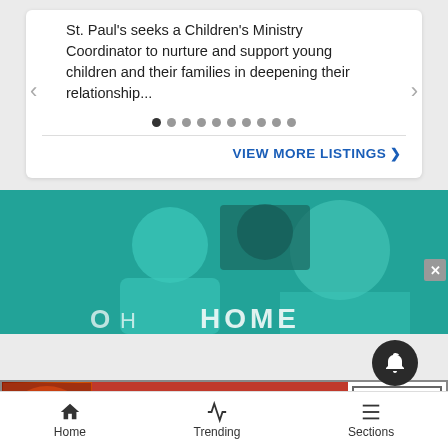St. Paul's seeks a Children's Ministry Coordinator to nurture and support young children and their families in deepening their relationship...
VIEW MORE LISTINGS ❯
[Figure (screenshot): Teal-tinted advertisement photo showing two people (a man and a woman) in what appears to be a dental or professional office setting, with text 'HOME' partially visible at the bottom]
[Figure (advertisement): Seamless food delivery banner ad showing pizza image on left, red Seamless logo in center, and ORDER NOW button on right]
Home
Trending
Sections